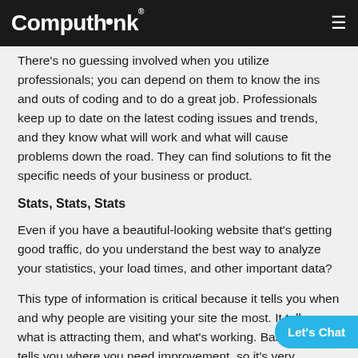Computhink
There's no guessing involved when you utilize professionals; you can depend on them to know the ins and outs of coding and to do a great job. Professionals keep up to date on the latest coding issues and trends, and they know what will work and what will cause problems down the road. They can find solutions to fit the specific needs of your business or product.
Stats, Stats, Stats
Even if you have a beautiful-looking website that's getting good traffic, do you understand the best way to analyze your statistics, your load times, and other important data?
This type of information is critical because it tells you when and why people are visiting your site the most. It tells you what is attracting them, and what's working. Basically, it tells you where you need improvement, so it's very important to know how to view, track, and decipher your statistics. Again, this is something that isn't included in the DIY website programs, but is available w